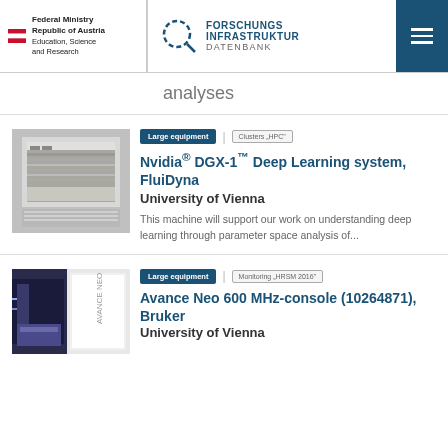Federal Ministry Republic of Austria Education, Science and Research | FORSCHUNGS INFRASTRUKTUR DATENBANK
analyses
[Figure (photo): Photo of an Nvidia DGX-1 Deep Learning system hardware unit in a rack]
Large equipment | Clusters "HPC"
Nvidia® DGX-1™ Deep Learning system, FluiDyna
University of Vienna
This machine will support our work on understanding deep learning through parameter space analysis of...
[Figure (photo): Photo of an Avance Neo NMR console unit]
Large equipment | Monitoring "HRSM 2016"
Avance Neo 600 MHz-console (10264871), Bruker
University of Vienna